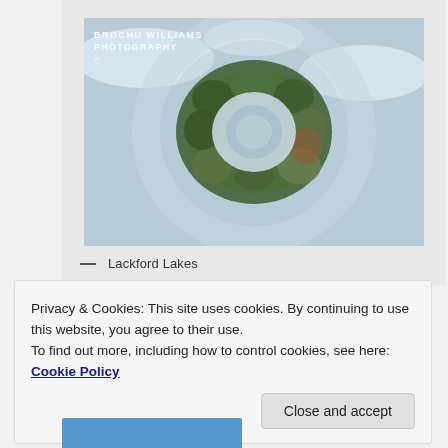[Figure (photo): 360-degree tiny planet style aerial photo of Lackford Lakes showing trees arranged in a circle with blue sky and clouds, watermarked 'BROCHU WILLIAMS PHOTOGRAPHY']
— Lackford Lakes
Privacy & Cookies: This site uses cookies. By continuing to use this website, you agree to their use.
To find out more, including how to control cookies, see here: Cookie Policy
Close and accept